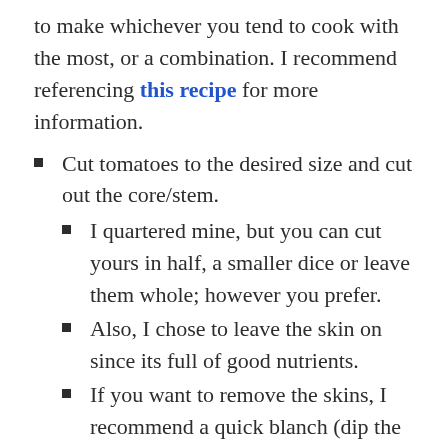to make whichever you tend to cook with the most, or a combination. I recommend referencing this recipe for more information.
Cut tomatoes to the desired size and cut out the core/stem.
I quartered mine, but you can cut yours in half, a smaller dice or leave them whole; however you prefer.
Also, I chose to leave the skin on since its full of good nutrients.
If you want to remove the skins, I recommend a quick blanch (dip the tomatoes into boiling water for a 30-60